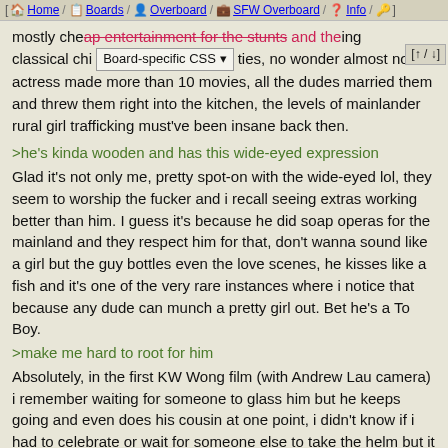[ Home / Boards / Overboard / SFW Overboard / Info / ]
mostly cheap entertainment for the stunts and the ing classical chi [Board-specific CSS] ties, no wonder almost no actress made more than 10 movies, all the dudes married them and threw them right into the kitchen, the levels of mainlander rural girl trafficking must've been insane back then.
>he's kinda wooden and has this wide-eyed expression
Glad it's not only me, pretty spot-on with the wide-eyed lol, they seem to worship the fucker and i recall seeing extras working better than him. I guess it's because he did soap operas for the mainland and they respect him for that, don't wanna sound like a girl but the guy bottles even the love scenes, he kisses like a fish and it's one of the very rare instances where i notice that because any dude can munch a pretty girl out. Bet he's a To Boy.
>make me hard to root for him
Absolutely, in the first KW Wong film (with Andrew Lau camera) i remember waiting for someone to glass him but he keeps going and even does his cousin at one point, i didn't know if i had to celebrate or wait for someone else to take the helm but it was all just his